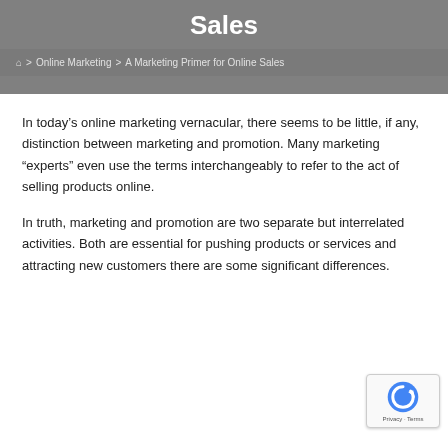Sales
Home > Online Marketing > A Marketing Primer for Online Sales
In today’s online marketing vernacular, there seems to be little, if any, distinction between marketing and promotion. Many marketing “experts” even use the terms interchangeably to refer to the act of selling products online.
In truth, marketing and promotion are two separate but interrelated activities. Both are essential for pushing products or services and attracting new customers there are some significant differences.